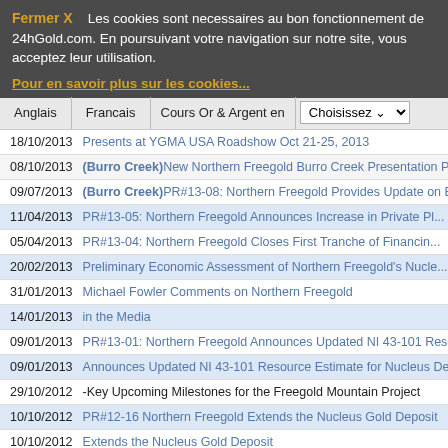Fermer X   Les cookies sont necessaires au bon fonctionnement de 24hGold.com. En poursuivant votre navigation sur notre site, vous acceptez leur utilisation.
Pour en savoir plus sur les cookies...
Anglais | Francais | Cours Or & Argent en | Choisissez
| Date | Title |
| --- | --- |
| 18/10/2013 | Presents at YGMA USA Roadshow Oct 21-25, 2013 |
| 08/10/2013 | (Burro Creek)New Northern Freegold Burro Creek Presentation Posted on W... |
| 09/07/2013 | (Burro Creek)PR#13-08: Northern Freegold Provides Update on Exploration... |
| 11/04/2013 | PR#13-05: Northern Freegold Announces Increase in Private Pl... |
| 05/04/2013 | PR#13-04: Northern Freegold Closes First Tranche of Financin... |
| 20/02/2013 | Preliminary Economic Assessment of Northern Freegold's Nucle... |
| 31/01/2013 | Michael Fowler Comments on Northern Freegold |
| 14/01/2013 | in the Media |
| 09/01/2013 | PR#13-01: Northern Freegold Announces Updated NI 43-101 Reso... |
| 09/01/2013 | Announces Updated NI 43-101 Resource Estimate for Nucleus De... |
| 29/10/2012 | -Key Upcoming Milestones for the Freegold Mountain Project |
| 10/10/2012 | PR#12-16 Northern Freegold Extends the Nucleus Gold Deposit |
| 10/10/2012 | Extends the Nucleus Gold Deposit |
| 19/09/2012 | Preliminary Metallurgical Results from Nucleus Gold Deposit ... |
| 12/09/2012 | Preliminary Metallurgical Results from Revenue Cu-Au-Mo Zone... |
| 26/06/2012 | Ian Gordon Comments on Northern Freegold |